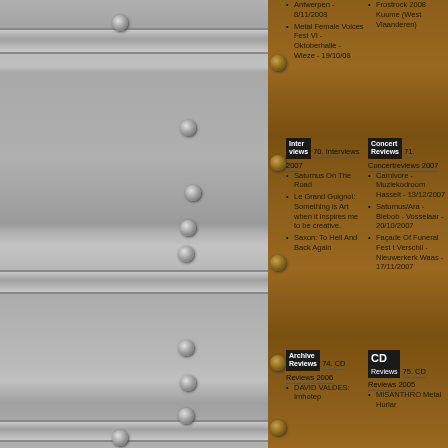[Figure (photo): Gray painted metal/wood panel with horizontal bands and round rivets/bolts, occupying the left portion of the image]
[Figure (photo): Brown wood-grain panel with decorative border rivets on the right side]
Antwerpen - 8/11/2008
Metal Female Voices Fest VI - Oktoberhalle - Wieze - 19/10/08
Frostrock 2008 Kuume (West Vlaanderen)
Interviews 70. Interviews 2007
Concert Reviews 71. Concertreviews 2007
Saturnus On The Road
Le Grand Guignol: Something is Art when it inspires me to be creative.
Saxon: To Hell And Back Again
Carnivore - Muziekodroom - Hasselt - 13/12/2007
Saturnus/Ara - Biebob - Vosselaar - 20/10/2007
Façade Of Funeral Fest t Verschil - Nieuwerkerk Waas - 17/11/2007
Archive Reviews 74. CD Reviews 2006
CD Reviews 75. CD Reviews 2005
DAVID VALDES: Imhotep
MISANTHRO Metal Hurlar